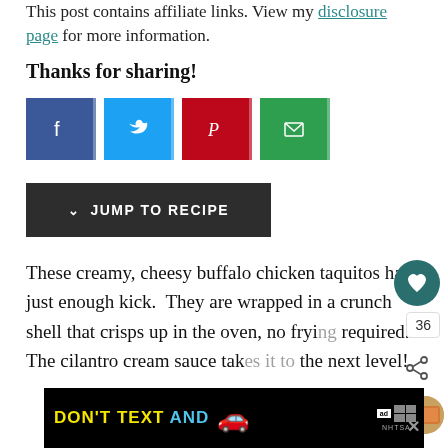This post contains affiliate links. View my disclosure page for more information.
Thanks for sharing!
[Figure (infographic): Social sharing buttons: Facebook (blue), Twitter (blue), Pinterest (red), Email (green)]
JUMP TO RECIPE
These creamy, cheesy buffalo chicken taquitos have just enough kick. They are wrapped in a crunch shell that crisps up in the oven, no frying required. The cilantro cream sauce tak... the next level!
[Figure (infographic): WHAT'S NEXT: Cheesy Buffalo... thumbnail overlay]
[Figure (infographic): DON'T TEXT AND [car graphic] ad banner with ad/NHTSA badge]